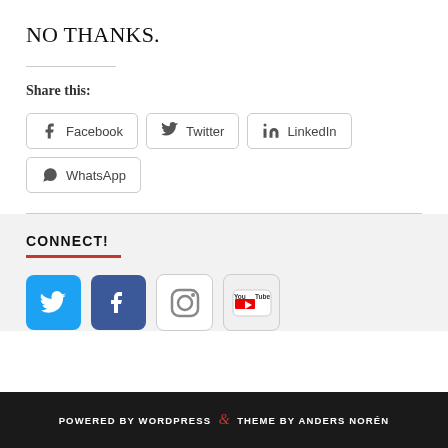NO THANKS.
Share this:
[Figure (infographic): Share buttons for Facebook, Twitter, LinkedIn, WhatsApp with bordered rounded rectangle styling]
CONNECT!
[Figure (infographic): Social media icons: Twitter (blue bird), Facebook (blue f), Instagram (camera), YouTube (You Tube logo)]
POWERED BY WORDPRESS & THEME BY ANDERS NORÉN